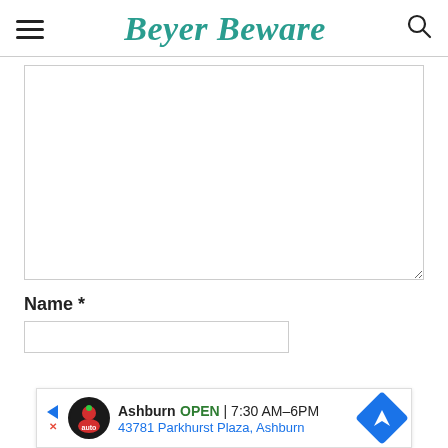Beyer Beware
[Figure (screenshot): Comment textarea input box, empty, with resize handle at bottom right]
Name *
[Figure (screenshot): Name text input box, empty]
[Figure (infographic): Ad banner: Ashburn OPEN 7:30AM-6PM, 43781 Parkhurst Plaza, Ashburn, with fire auto logo and navigation arrow icon]